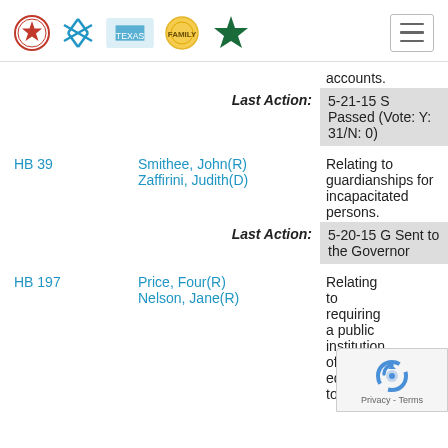Navigation header with logos and menu
accounts.
Last Action: 5-21-15 S Passed (Vote: Y: 31/N: 0)
HB 39  Smithee, John(R) / Zaffirini, Judith(D)  Relating to guardianships for incapacitated persons.
Last Action: 5-20-15 G Sent to the Governor
HB 197  Price, Four(R) / Nelson, Jane(R)  Relating to requiring a public institution of higher education to